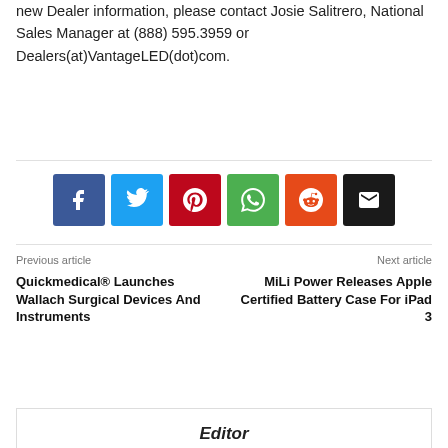new Dealer information, please contact Josie Salitrero, National Sales Manager at (888) 595.3959 or Dealers(at)VantageLED(dot)com.
[Figure (infographic): Row of 6 social media share buttons: Facebook (blue), Twitter (light blue), Pinterest (red), WhatsApp (green), Reddit (orange), Email (black)]
Previous article
Quickmedical® Launches Wallach Surgical Devices And Instruments
Next article
MiLi Power Releases Apple Certified Battery Case For iPad 3
Editor